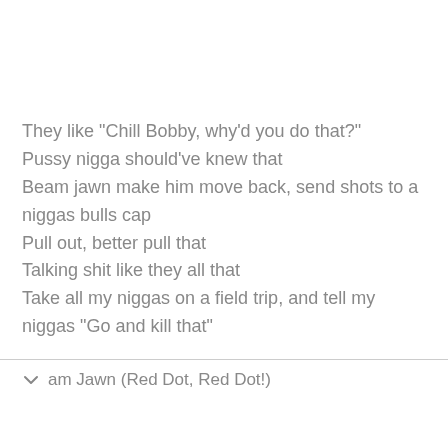They like "Chill Bobby, why'd you do that?"
Pussy nigga should've knew that
Beam jawn make him move back, send shots to a niggas bulls cap
Pull out, better pull that
Talking shit like they all that
Take all my niggas on a field trip, and tell my niggas "Go and kill that"
am Jawn (Red Dot, Red Dot!)